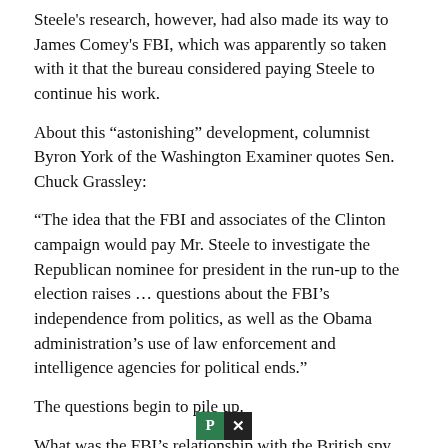Steele’s research, however, had also made its way to James Comey’s FBI, which was apparently so taken with it that the bureau considered paying Steele to continue his work.
About this “astonishing” development, columnist Byron York of the Washington Examiner quotes Sen. Chuck Grassley:
“The idea that the FBI and associates of the Clinton campaign would pay Mr. Steele to investigate the Republican nominee for president in the run-up to the election raises … questions about the FBI’s independence from politics, as well as the Obama administration’s use of law enforcement and intelligence agencies for political ends.”
The questions begin to pile up.
What was the FBI’s relationship with the British spy who was so wired into Russian intelligence?